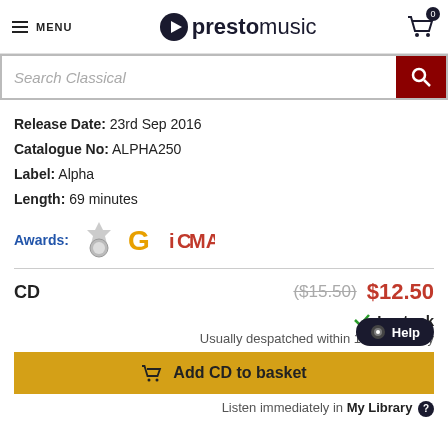MENU | prestomusic | Cart: 0
[Figure (screenshot): Search Classical input bar with dark red search button]
Release Date: 23rd Sep 2016
Catalogue No: ALPHA250
Label: Alpha
Length: 69 minutes
[Figure (other): Awards row with medal icon, Google G icon, and ICMA red logo]
CD  ($15.50)  $12.50
✓ In stock
Usually despatched within 1 working day
Add CD to basket
Listen immediately in My Library ?